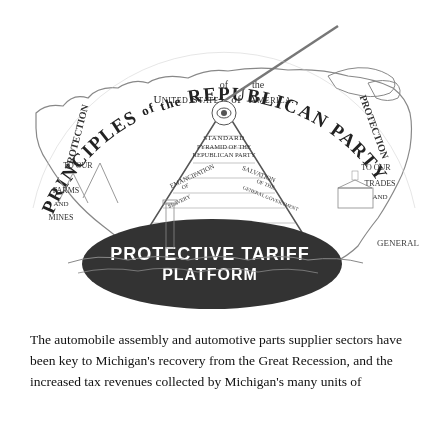[Figure (illustration): A detailed engraving titled 'Principles of the Republican Party of the United States of America.' The image depicts a map of the United States overlaid with a large pyramid labeled 'Standard Pyramid of the Republican Party' with 'Emancipation of Slavery' and 'Salvation of the General Government' on its sides. The base reads 'Protective Tariff Platform.' On the left side: 'Protection to our Farms and Mines.' On the right: 'Protection to our Trades and [Industries].' A beam of light emanates from the pyramid apex. Text 'General' appears at the lower right.]
The automobile assembly and automotive parts supplier sectors have been key to Michigan's recovery from the Great Recession, and the increased tax revenues collected by Michigan's many units of